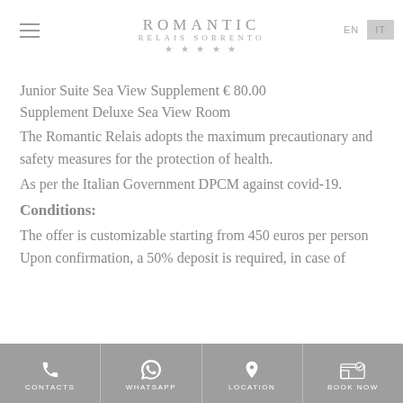ROMANTIC RELAIS SORRENTO ★★★★★
Junior Suite Sea View Supplement € 80.00
Supplement Deluxe Sea View Room
The Romantic Relais adopts the maximum precautionary and safety measures for the protection of health.
As per the Italian Government DPCM against covid-19.
Conditions:
The offer is customizable starting from 450 euros per person
Upon confirmation, a 50% deposit is required, in case of
CONTACTS  WHATSAPP  LOCATION  BOOK NOW